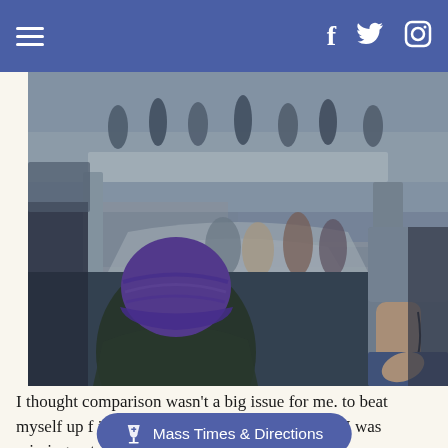≡  f  🐦  ⭕ (navigation bar with hamburger menu and social icons: Facebook, Twitter, Instagram)
[Figure (photo): A person wearing a purple knit beanie hat and dark green jacket seen from behind, sitting while a crowd of people walk along a modern bridge or walkway with glass railings. Another person stands to the right holding what appears to be earphone cables.]
I thought comparison wasn't a big issue for me. to beat myself up f[...] irl really have problems feeling like I was missing out
⚜ Mass Times & Directions